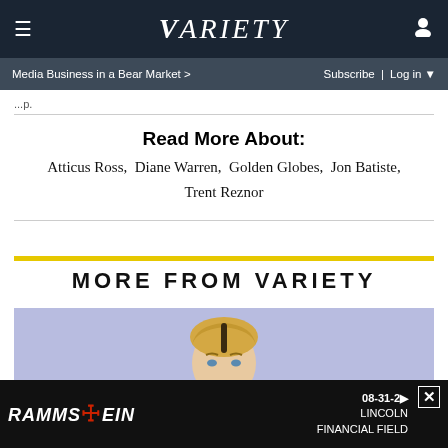VARIETY — Media Business in a Bear Market > | Subscribe | Log in
Read More About:
Atticus Ross, Diane Warren, Golden Globes, Jon Batiste, Trent Reznor
MORE FROM VARIETY
[Figure (photo): Partial photo of a blonde woman against a light purple/lavender background]
[Figure (other): Advertisement banner for Rammstein concert 08-31-2x at Lincoln Financial Field]